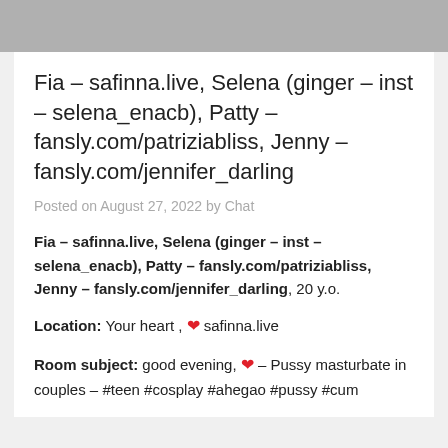[Figure (other): Gray banner bar at top of page]
Fia – safinna.live, Selena (ginger – inst – selena_enacb), Patty – fansly.com/patriziabliss, Jenny – fansly.com/jennifer_darling
Posted on August 27, 2022 by Chat
Fia – safinna.live, Selena (ginger – inst – selena_enacb), Patty – fansly.com/patriziabliss, Jenny – fansly.com/jennifer_darling, 20 y.o.
Location: Your heart , ❤ safinna.live
Room subject: good evening, ❤ – Pussy masturbate in couples – #teen #cosplay #ahegao #pussy #cum